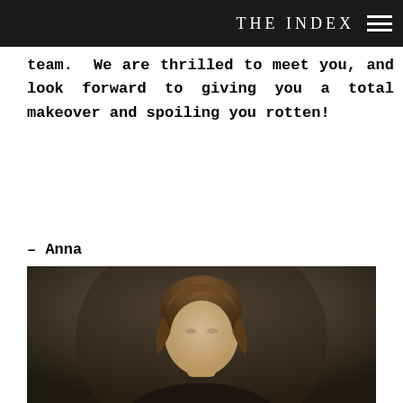THE INDEX
team.  We are thrilled to meet you, and look forward to giving you a total makeover and spoiling you rotten!
– Anna
[Figure (photo): Portrait photograph of a woman with brown hair, dark background]